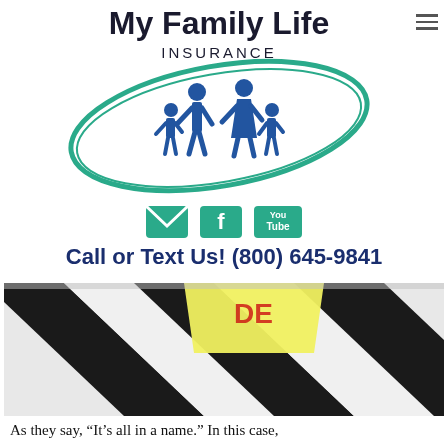[Figure (logo): My Family Life Insurance logo with teal ellipse swoosh and blue family silhouette icons]
[Figure (infographic): Social media icons: email envelope, Facebook, YouTube]
Call or Text Us! (800) 645-9841
[Figure (photo): Close-up photo of black and white dart board sections with a yellow sticky note visible at top]
As they say, “It’s all in a name.” In this case,